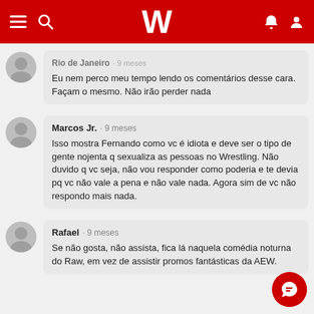W (Wrestlingnews logo)
Rio de Janeiro · 9 meses
Eu nem perco meu tempo lendo os comentários desse cara. Façam o mesmo. Não irão perder nada
Marcos Jr. · 9 meses
Isso mostra Fernando como vc é idiota e deve ser o tipo de gente nojenta q sexualiza as pessoas no Wrestling. Não duvido q vc seja, não vou responder como poderia e te devia pq vc não vale a pena e não vale nada. Agora sim de vc não respondo mais nada.
Rafael · 9 meses
Se não gosta, não assista, fica lá naquela comédia noturna do Raw, em vez de assistir promos fantásticas da AEW.